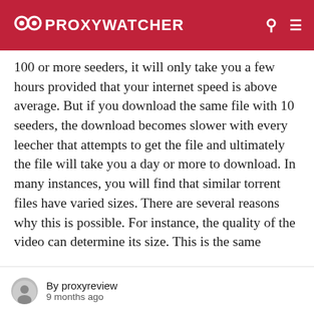PROXYWATCHER
100 or more seeders, it will only take you a few hours provided that your internet speed is above average. But if you download the same file with 10 seeders, the download becomes slower with every leecher that attempts to get the file and ultimately the file will take you a day or more to download. In many instances, you will find that similar torrent files have varied sizes. There are several reasons why this is possible. For instance, the quality of the video can determine its size. This is the same
By proxyreview
9 months ago